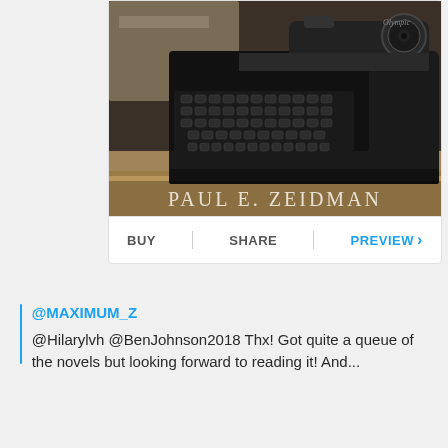[Figure (photo): Book cover photo showing a vintage black typewriter with keys visible, on a wooden surface. Text at bottom reads 'PAUL E. ZEIDMAN' in serif white/light letters.]
BUY | SHARE | PREVIEW >
@MAXIMUM_Z
@Hilarylvh @BenJohnson2018 Thx! Got quite a queue of the novels but looking forward to reading it! And...